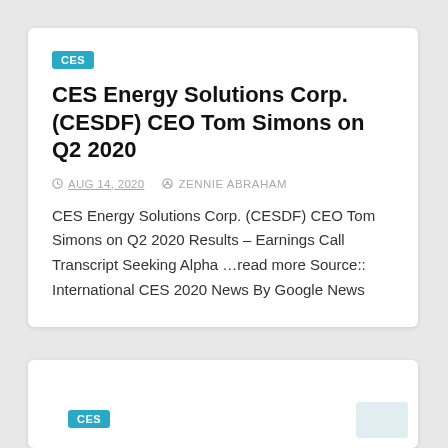CES
CES Energy Solutions Corp. (CESDF) CEO Tom Simons on Q2 2020
AUG 14, 2020   ZENNIE ABRAHAM
CES Energy Solutions Corp. (CESDF) CEO Tom Simons on Q2 2020 Results – Earnings Call Transcript Seeking Alpha …read more Source:: International CES 2020 News By Google News